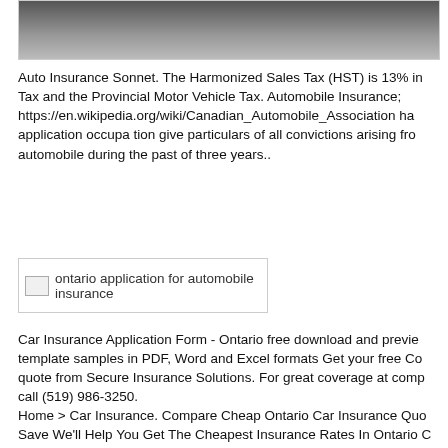[Figure (photo): Top portion of a black and white photo, appears to show a vehicle wheel or tire]
Auto Insurance Sonnet. The Harmonized Sales Tax (HST) is 13% in Tax and the Provincial Motor Vehicle Tax. Automobile Insurance; https://en.wikipedia.org/wiki/Canadian_Automobile_Association ha application occupa tion give particulars of all convictions arising fro automobile during the past of three years..
[Figure (photo): ontario application for automobile insurance — broken image placeholder]
Car Insurance Application Form - Ontario free download and previe template samples in PDF, Word and Excel formats Get your free Co quote from Secure Insurance Solutions. For great coverage at comp call (519) 986-3250.
Home > Car Insurance. Compare Cheap Ontario Car Insurance Quo Save We'll Help You Get The Cheapest Insurance Rates In Ontario C